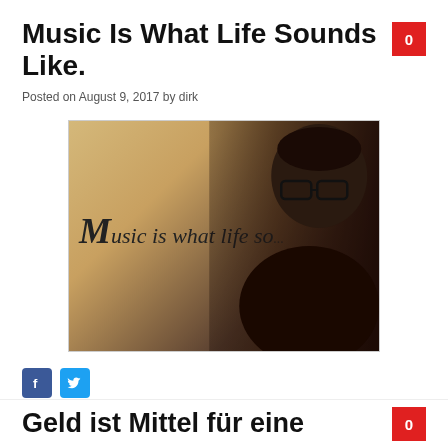Music Is What Life Sounds Like.
Posted on August 9, 2017 by dirk
[Figure (photo): Person with glasses leaning next to a sign that reads 'Music is what life sounds like']
Selfies    Music Is What Life Sounds Like, Zitat
Geld ist Mittel für eine